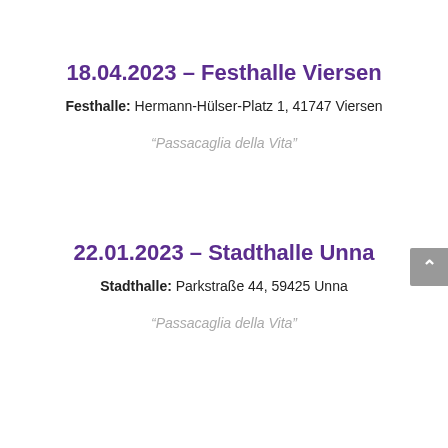18.04.2023 – Festhalle Viersen
Festhalle: Hermann-Hülser-Platz 1, 41747 Viersen
"Passacaglia della Vita"
22.01.2023 – Stadthalle Unna
Stadthalle: Parkstraße 44, 59425 Unna
"Passacaglia della Vita"